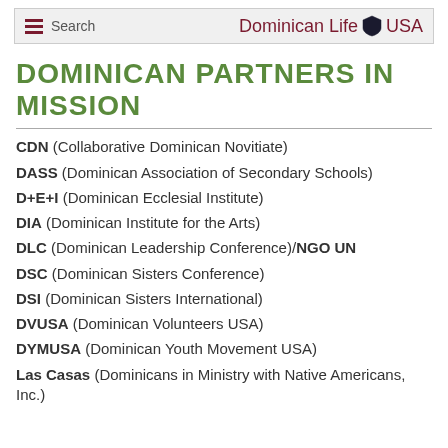Dominican Life USA
DOMINICAN PARTNERS IN MISSION
CDN (Collaborative Dominican Novitiate)
DASS (Dominican Association of Secondary Schools)
D+E+I (Dominican Ecclesial Institute)
DIA (Dominican Institute for the Arts)
DLC (Dominican Leadership Conference)/NGO UN
DSC (Dominican Sisters Conference)
DSI (Dominican Sisters International)
DVUSA (Dominican Volunteers USA)
DYMUSA (Dominican Youth Movement USA)
Las Casas (Dominicans in Ministry with Native Americans, Inc.)